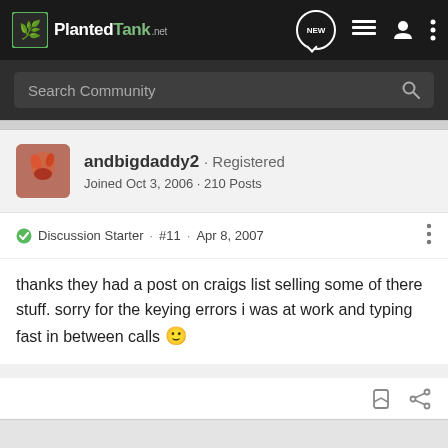PlantedTank.net — navigation bar with logo, NEW bubble, list icon, user icon, more icon
Search Community
andbigdaddy2 · Registered
Joined Oct 3, 2006 · 210 Posts
Discussion Starter · #11 · Apr 8, 2007
thanks they had a post on craigs list selling some of there stuff. sorry for the keying errors i was at work and typing fast in between calls 🙂